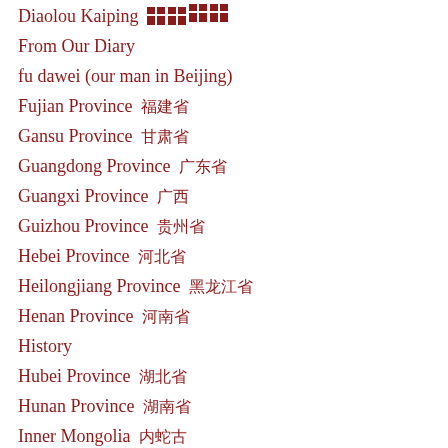Diaolou Kaiping [broken characters]
From Our Diary
fu dawei (our man in Beijing)
Fujian Province 福建省
Gansu Province 甘肃省
Guangdong Province 广东省
Guangxi Province 广西
Guizhou Province 贵州省
Hebei Province 河北省
Heilongjiang Province 黑龙江省
Henan Province 河南省
History
Hubei Province 湖北省
Hunan Province 湖南省
Inner Mongolia 内蒙古
Jiangsu Province 江苏省
Jiangxi Province 江西省